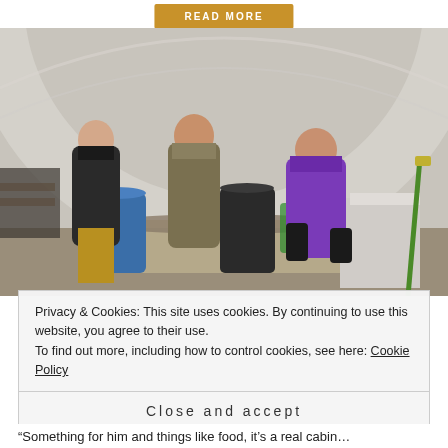READ MORE
[Figure (photo): Three women working inside a polytunnel greenhouse, handling soil and plants on a workbench. Blue and black barrels visible in background. One woman wears a purple t-shirt, one wears camouflage, one wears black. Grow bags line the sides.]
Privacy & Cookies: This site uses cookies. By continuing to use this website, you agree to their use.
To find out more, including how to control cookies, see here: Cookie Policy
Close and accept
“Something for him and things like food, it’s a real cabin…